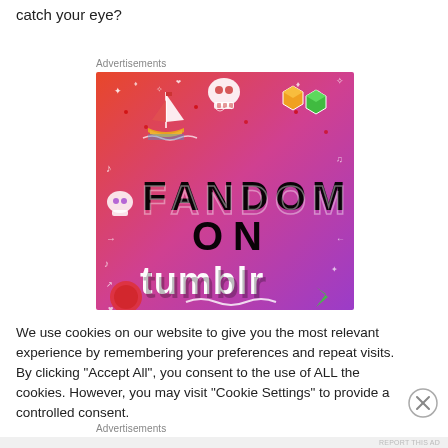catch your eye?
Advertisements
[Figure (illustration): Fandom on Tumblr advertisement banner with colorful gradient background (orange to purple) featuring doodles, a sailboat, skulls, dice, and bold text reading FANDOM ON tumblr]
We use cookies on our website to give you the most relevant experience by remembering your preferences and repeat visits. By clicking “Accept All”, you consent to the use of ALL the cookies. However, you may visit "Cookie Settings" to provide a controlled consent.
Advertisements